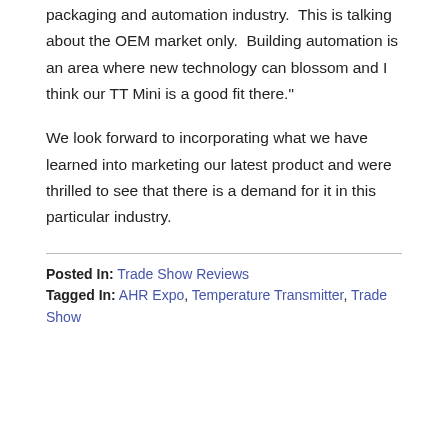packaging and automation industry.  This is talking about the OEM market only.  Building automation is an area where new technology can blossom and I think our TT Mini is a good fit there."
We look forward to incorporating what we have learned into marketing our latest product and were thrilled to see that there is a demand for it in this particular industry.
Posted In: Trade Show Reviews
Tagged In: AHR Expo, Temperature Transmitter, Trade Show